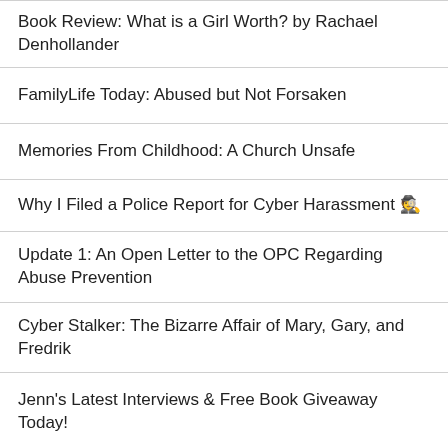Book Review: What is a Girl Worth? by Rachael Denhollander
FamilyLife Today: Abused but Not Forsaken
Memories From Childhood: A Church Unsafe
Why I Filed a Police Report for Cyber Harassment 🕵
Update 1: An Open Letter to the OPC Regarding Abuse Prevention
Cyber Stalker: The Bizarre Affair of Mary, Gary, and Fredrik
Jenn's Latest Interviews & Free Book Giveaway Today!
Jesus Calling: Though We May Feel Alone, We Are Not Forsaken by God